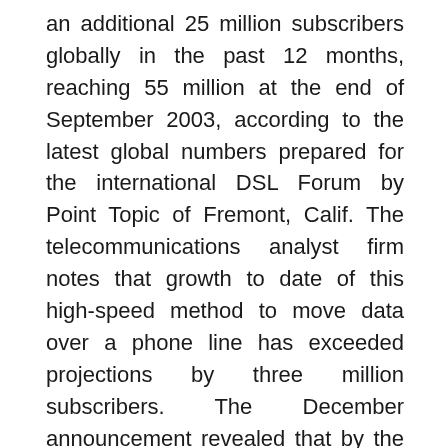an additional 25 million subscribers globally in the past 12 months, reaching 55 million at the end of September 2003, according to the latest global numbers prepared for the international DSL Forum by Point Topic of Fremont, Calif. The telecommunications analyst firm notes that growth to date of this high-speed method to move data over a phone line has exceeded projections by three million subscribers. The December announcement revealed that by the year's end, more than 62 million homes and businesses around the world are expected to select DSL rather than other broadband technologies, extending DSL's global lead over cable modems. Japan continues to lead the world with 9.2 million, followed by the USA at 8.2 million, China at 7.8 million, then South Korea, Germany, France, Taiwan and Canada eighth at two million. Australia, European and Latin American countries showed strong growth, but